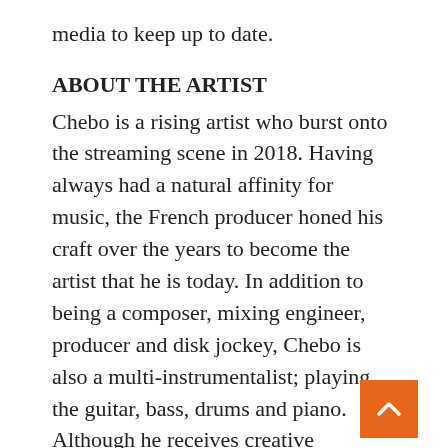media to keep up to date.
ABOUT THE ARTIST
Chebo is a rising artist who burst onto the streaming scene in 2018. Having always had a natural affinity for music, the French producer honed his craft over the years to become the artist that he is today. In addition to being a composer, mixing engineer, producer and disk jockey, Chebo is also a multi-instrumentalist; playing the guitar, bass, drums and piano. Although he receives creative inspiration from a number of styles, Chebo combines a variety of compositional elements to form his unique sound.
To date, Chebo has thirty-eight singles/EPs in his online discography. Some of his most popular tracks